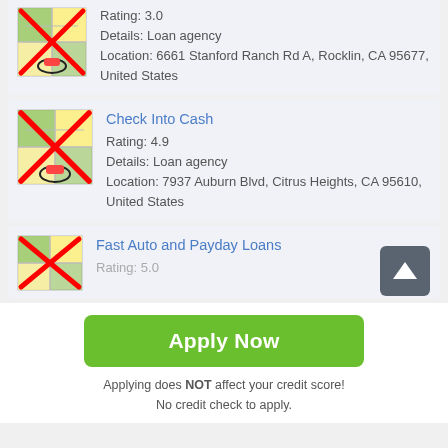[Figure (illustration): Map icon with red X overlay and red marker, for a loan agency listing (partial top card)]
Rating: 3.0
Details: Loan agency
Location: 6661 Stanford Ranch Rd A, Rocklin, CA 95677, United States
[Figure (illustration): Map icon with red X overlay and red marker, for Check Into Cash listing]
Check Into Cash
Rating: 4.9
Details: Loan agency
Location: 7937 Auburn Blvd, Citrus Heights, CA 95610, United States
[Figure (illustration): Map icon with red X overlay, scroll-up button overlay, for Fast Auto and Payday Loans listing]
Fast Auto and Payday Loans
Rating: 5.0
Apply Now
Applying does NOT affect your credit score!
No credit check to apply.